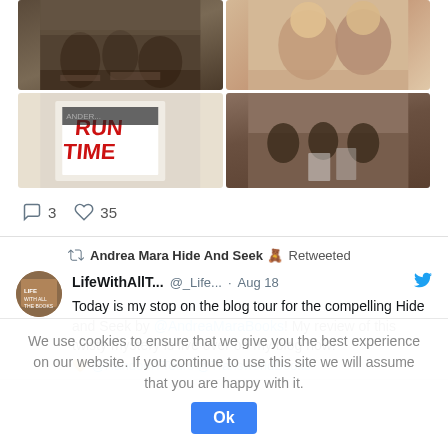[Figure (photo): 2x2 grid of four photos: top-left shows people sitting around tables in what appears to be a bookshop or event; top-right shows two women smiling close-up; bottom-left shows a book cover with red text 'RUN TIME'; bottom-right shows three women posing together holding books]
3   35
Andrea Mara Hide And Seek 🧸 Retweeted
LifeWithAllT... @_Life... · Aug 18
Today is my stop on the blog tour for the compelling Hide and Seek by @AndreaMaraBooks! My review of this twisty mystery is live over on my blog now! 🧡 @RandomTTours @TransworldBooks
We use cookies to ensure that we give you the best experience on our website. If you continue to use this site we will assume that you are happy with it.